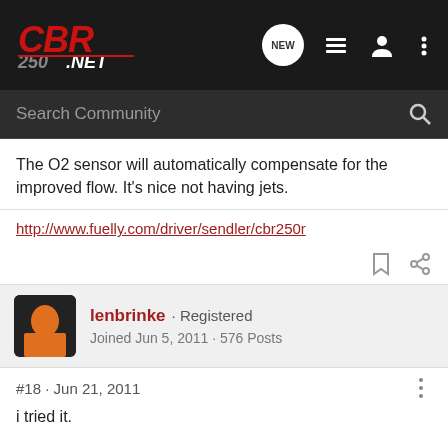CBR250.NET — Search Community (navigation bar)
The O2 sensor will automatically compensate for the improved flow. It's nice not having jets.
http://www.fuelly.com/driver/sendler/cbr250r
lenbrinke · Registered
Joined Jun 5, 2011 · 576 Posts
#18 · Jun 21, 2011
i tried it.